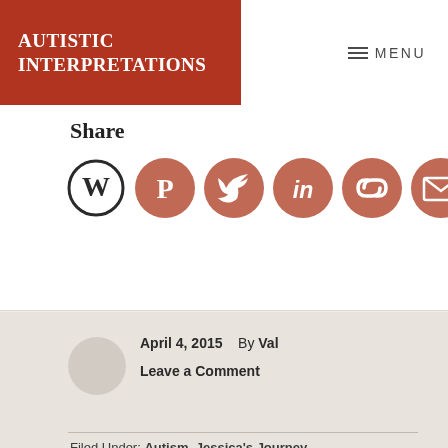AUTISTIC INTERPRETATIONS
MENU
Share
[Figure (infographic): Row of six social media sharing icon circles: WordPress, Pinterest, Twitter, LinkedIn, Link/copy, Email]
April 4, 2015  By Val
Leave a Comment
Filed Under: Autism, Jessica's Journey
Tagged With: Advocate, Least Restrictive